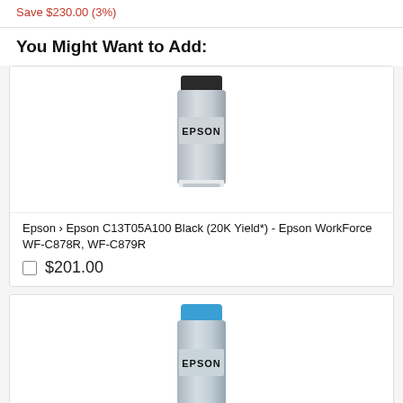Save $230.00 (3%)
You Might Want to Add:
[Figure (photo): Epson black ink cartridge bottle with dark cap, grey body, EPSON label]
Epson › Epson C13T05A100 Black (20K Yield*) - Epson WorkForce WF-C878R, WF-C879R
□ $201.00
[Figure (photo): Epson cyan ink cartridge bottle with blue cap, grey body, EPSON label]